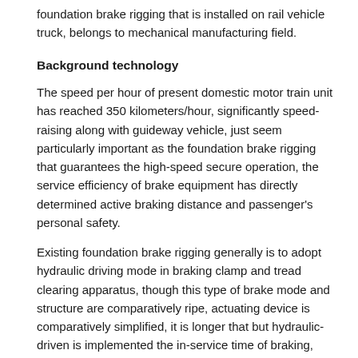foundation brake rigging that is installed on rail vehicle truck, belongs to mechanical manufacturing field.
Background technology
The speed per hour of present domestic motor train unit has reached 350 kilometers/hour, significantly speed-raising along with guideway vehicle, just seem particularly important as the foundation brake rigging that guarantees the high-speed secure operation, the service efficiency of brake equipment has directly determined active braking distance and passenger's personal safety.
Existing foundation brake rigging generally is to adopt hydraulic driving mode in braking clamp and tread clearing apparatus, though this type of brake mode and structure are comparatively ripe, actuating device is comparatively simplified, it is longer that but hydraulic-driven is implemented the in-service time of braking, from hydraulic oil extruding brake pad and cleaning grinding block, need experience the long time to compressing brake disc and wheel tread constantly, therefore adopt the stopping distance of hydraulic-driven brake equipment longer, do not meet the safe handling requirement of high-speed cruising